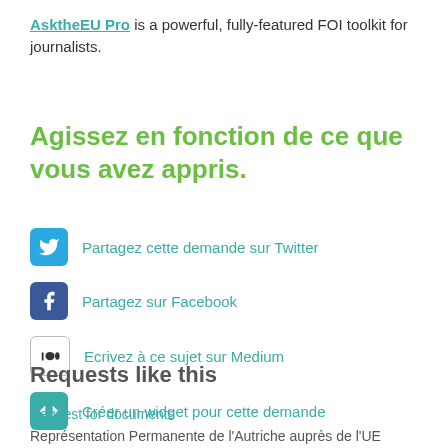AsktheEU Pro is a powerful, fully-featured FOI toolkit for journalists.
Agissez en fonction de ce que vous avez appris.
Partagez cette demande sur Twitter
Partagez sur Facebook
Ecrivez à ce sujet sur Medium
Créer un widget pour cette demande
Requests like this
Request for documents
Représentation Permanente de l'Autriche auprès de l'UE